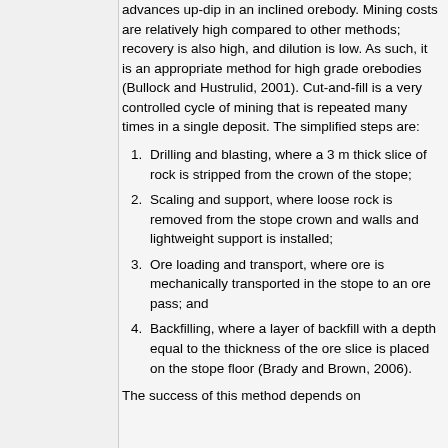advances up-dip in an inclined orebody. Mining costs are relatively high compared to other methods; recovery is also high, and dilution is low. As such, it is an appropriate method for high grade orebodies (Bullock and Hustrulid, 2001). Cut-and-fill is a very controlled cycle of mining that is repeated many times in a single deposit. The simplified steps are:
Drilling and blasting, where a 3 m thick slice of rock is stripped from the crown of the stope;
Scaling and support, where loose rock is removed from the stope crown and walls and lightweight support is installed;
Ore loading and transport, where ore is mechanically transported in the stope to an ore pass; and
Backfilling, where a layer of backfill with a depth equal to the thickness of the ore slice is placed on the stope floor (Brady and Brown, 2006).
The success of this method depends on